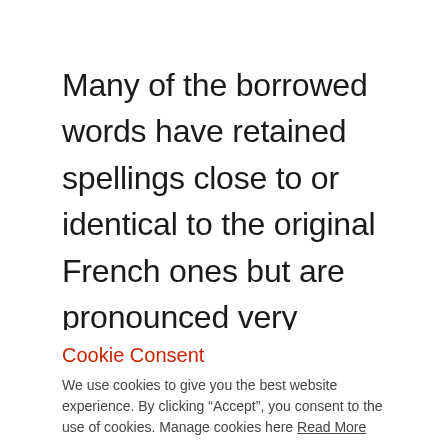Many of the borrowed words have retained spellings close to or identical to the original French ones but are pronounced very differently in English. Over time, English speakers
Cookie Consent
We use cookies to give you the best website experience. By clicking “Accept”, you consent to the use of cookies. Manage cookies here Read More
Cookie settings   ACCEPT